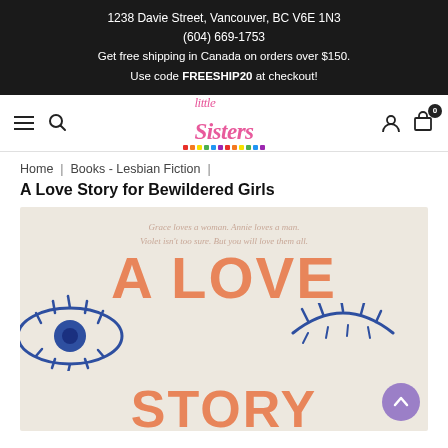1238 Davie Street, Vancouver, BC V6E 1N3
(604) 669-1753
Get free shipping in Canada on orders over $150.
Use code FREESHIP20 at checkout!
[Figure (logo): Little Sisters bookstore logo - cursive pink text with rainbow color blocks beneath]
Home | Books - Lesbian Fiction |
A Love Story for Bewildered Girls
[Figure (photo): Book cover of 'A Love Story for Bewildered Girls' - beige background with large orange hand-lettered title text and blue illustrated eyes. Tagline reads: Grace loves a woman. Annie loves a man. Violet isn't too sure. But you will love them all.]